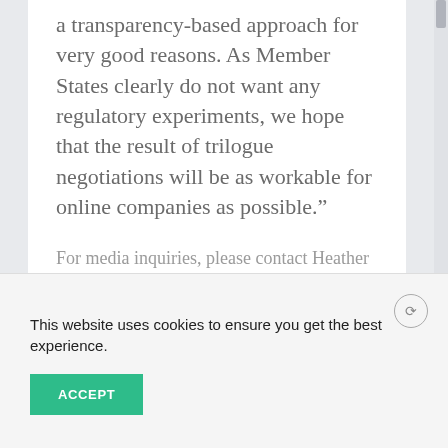a transparency-based approach for very good reasons. As Member States clearly do not want any regulatory experiments, we hope that the result of trilogue negotiations will be as workable for online companies as possible.”
For media inquiries, please contact Heather Greenfield hgreenfield@ccianet.org
This website uses cookies to ensure you get the best experience.
ACCEPT